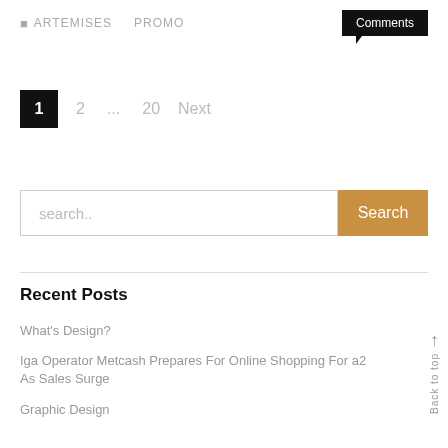ARTEMISES   PROMO   Comments
1   2   ...   20   Next
search..   Search
Recent Posts
What's Design?
Iga Operator Metcash Prepares For Online Shopping For a2 As Sales Surge
Graphic Design